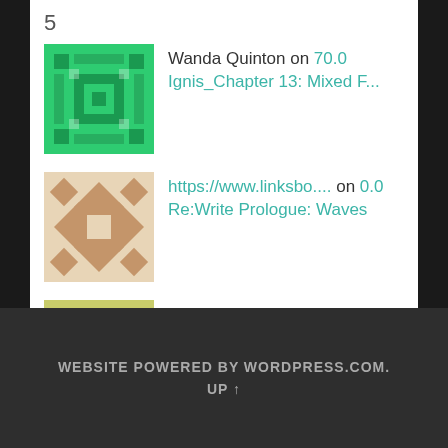5
Wanda Quinton on 70.0 Ignis_Chapter 13: Mixed F...
https://www.linksbo.... on 0.0 Re:Write Prologue: Waves
sunglasses on 0.0 Re:Write Prologue: Waves
kyu on 59.0 Grayscale_Chapter 19: Cha...
WEBSITE POWERED BY WORDPRESS.COM.
UP ↑